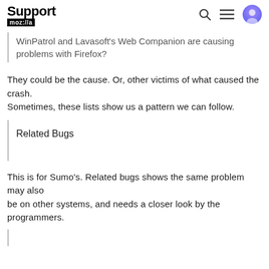Support mozilla//a
WinPatrol and Lavasoft's Web Companion are causing problems with Firefox?
They could be the cause. Or, other victims of what caused the crash.
Sometimes, these lists show us a pattern we can follow.
Related Bugs
This is for Sumo's. Related bugs shows the same problem may also
be on other systems, and needs a closer look by the programmers.